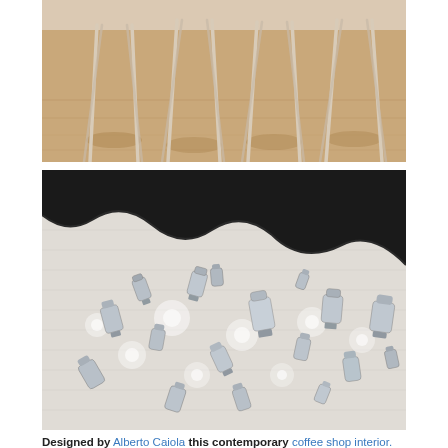[Figure (photo): Interior photo showing the legs of stools/chairs on a warm wood-tone floor, viewed from below]
[Figure (photo): Contemporary coffee shop interior wall art installation: numerous chrome/silver moka pot espresso makers mounted on a white brick wall with lights, beneath a dramatic dark wavy ceiling element]
Designed by Alberto Caiola this contemporary coffee shop interior. Photography by Dirk Wieblen.